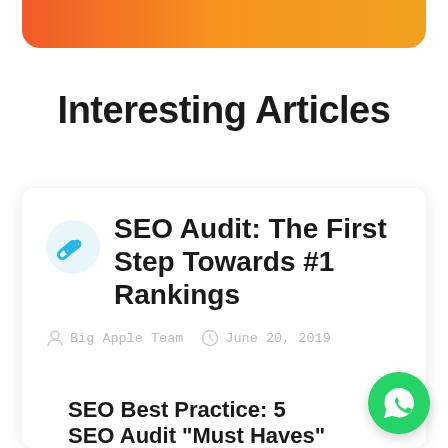[Figure (illustration): Orange-red gradient decorative bar at top of page]
Interesting Articles
SEO Audit: The First Step Towards #1 Rankings
Big Apple Team   June 20, 2019
SEO Best Practice: 5 SEO Audit "Must Haves"